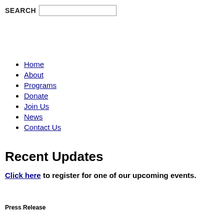SEARCH
Home
About
Programs
Donate
Join Us
News
Contact Us
Recent Updates
Click here to register for one of our upcoming events.
Press Release